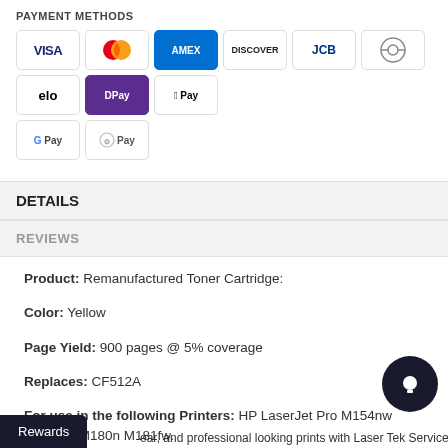PAYMENT METHODS
[Figure (other): Payment method icons: VISA, Mastercard, AMEX, Discover, JCB, Diners Club, elo, DPay, Apple Pay, Google Pay, Samsung Pay]
DETAILS
REVIEWS
Product: Remanufactured Toner Cartridge:
Color: Yellow
Page Yield: 900 pages @ 5% coverage
Replaces: CF512A
For use in the following Printers: HP LaserJet Pro M154nw M180nw M180n M181fw.
...ear, and professional looking prints with Laser Tek Services